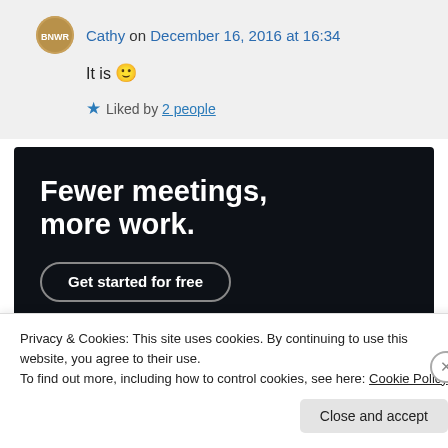Cathy on December 16, 2016 at 16:34
It is 🙂
★ Liked by 2 people
[Figure (other): Advertisement banner with dark background. Text: 'Fewer meetings, more work.' with a 'Get started for free' button.]
Privacy & Cookies: This site uses cookies. By continuing to use this website, you agree to their use.
To find out more, including how to control cookies, see here: Cookie Policy
Close and accept